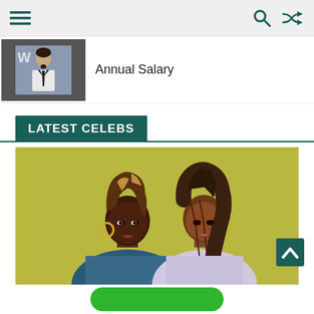Navigation bar with menu, search, and shuffle icons
[Figure (photo): Thumbnail photo of a man in white suit and black tie, with website watermark 'W']
Annual Salary
LATEST CELEBS
[Figure (photo): Two Black women posing back-to-back against a yellow-green background. Left woman has highlighted wavy hair and hoop earrings; right woman has long brown braids.]
[Figure (other): Back to top arrow button (teal/dark green chevron)]
[Figure (other): Green rounded button at bottom of page]